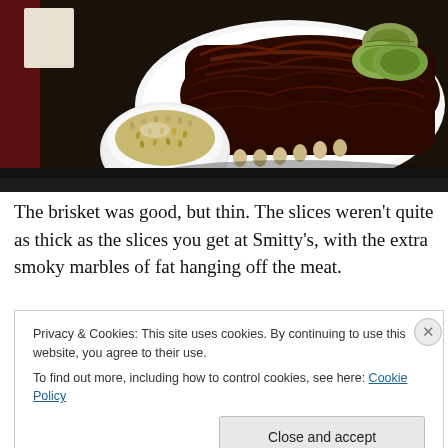[Figure (photo): Food photo showing a tray with a plate of BBQ ribs garnished with pickle slices, alongside a white bowl of what appears to be rice or grain side dish, on a dark tray.]
The brisket was good, but thin. The slices weren't quite as thick as the slices you get at Smitty's, with the extra smoky marbles of fat hanging off the meat.
Privacy & Cookies: This site uses cookies. By continuing to use this website, you agree to their use.
To find out more, including how to control cookies, see here: Cookie Policy